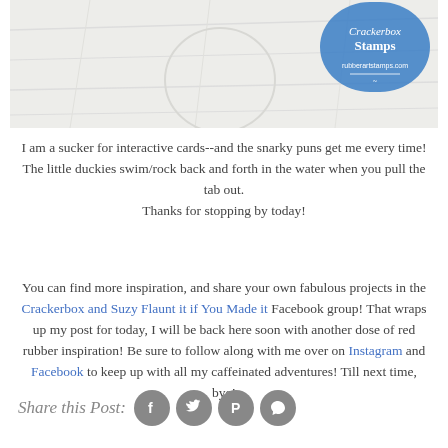[Figure (photo): Top portion of a card/craft project image with a white wood texture background and a blue Crackerbox Stamps logo/watermark in the upper right corner.]
I am a sucker for interactive cards--and the snarky puns get me every time! The little duckies swim/rock back and forth in the water when you pull the tab out. Thanks for stopping by today!
You can find more inspiration, and share your own fabulous projects in the Crackerbox and Suzy Flaunt it if You Made it Facebook group! That wraps up my post for today, I will be back here soon with another dose of red rubber inspiration! Be sure to follow along with me over on Instagram and Facebook to keep up with all my caffeinated adventures! Till next time, bye!
Share this Post: